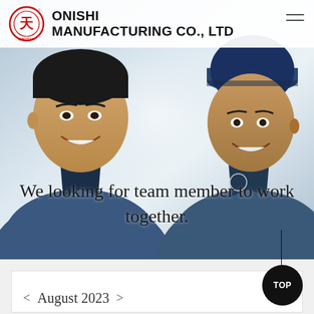[Figure (photo): Two smiling young men wearing blue work uniforms/coveralls, likely factory workers. Photo used as hero/banner image for Onishi Manufacturing Co., Ltd recruitment page.]
ONISHI MANUFACTURING CO., LTD
We looking for team member to work together.
< August 2023 >